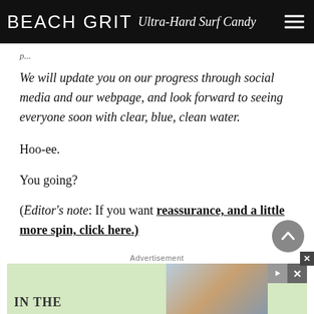BEACH GRIT Ultra-Hard Surf Candy
We will update you on our progress through social media and our webpage, and look forward to seeing everyone soon with clear, blue, clean water.
Hoo-ee.
You going?
(Editor's note: If you want reassurance, and a little more spin, click here.)
[Figure (screenshot): Advertisement banner with green background, 'IN THE' text, and a landscape photo on the right. Close button (X) in upper right.]